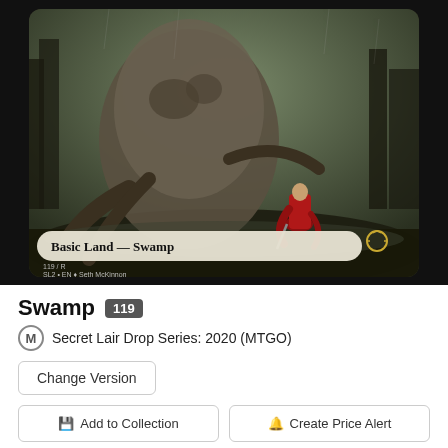[Figure (illustration): Magic: The Gathering card art for Swamp showing a dark swamp scene with a large gnarled tree creature and a red-cloaked figure, with type bar reading 'Basic Land — Swamp']
Swamp 119
Secret Lair Drop Series: 2020 (MTGO)
Change Version
Add to Collection
Create Price Alert
Swamp